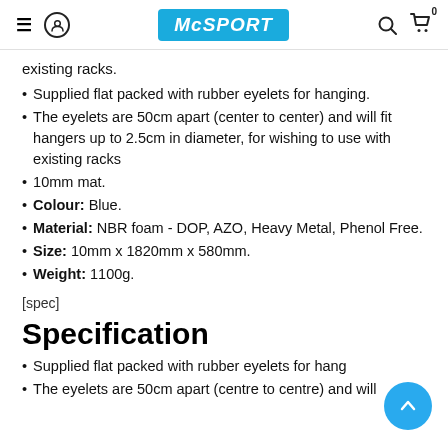McSPORT
existing racks.
Supplied flat packed with rubber eyelets for hanging.
The eyelets are 50cm apart (center to center) and will fit hangers up to 2.5cm in diameter, for wishing to use with existing racks
10mm mat.
Colour: Blue.
Material: NBR foam - DOP, AZO, Heavy Metal, Phenol Free.
Size: 10mm x 1820mm x 580mm.
Weight: 1100g.
[spec]
Specification
Supplied flat packed with rubber eyelets for hanging
The eyelets are 50cm apart (centre to centre) and will